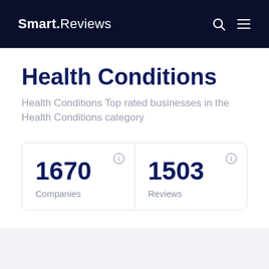Smart.Reviews
Health Conditions
Health Conditions Top rated businesses in the Health Conditions category
| Metric | Value |
| --- | --- |
| Companies | 1670 |
| Reviews | 1503 |